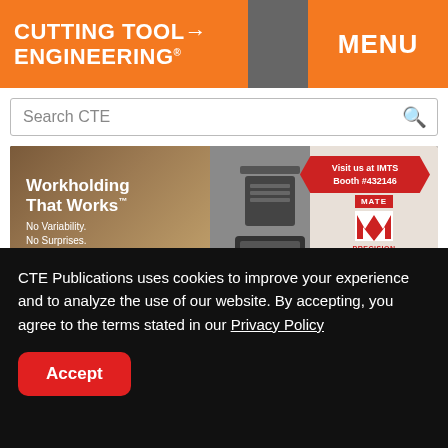CUTTING TOOL ENGINEERING®
MENU
Search CTE
[Figure (photo): Advertisement banner for Mate Precision Technologies: 'Workholding That Works™ – No Variability. No Surprises.' with an image of a workholding device and a red badge: 'Visit us at IMTS Booth #432146']
Collets up close
CTE Publications uses cookies to improve your experience and to analyze the use of our website. By accepting, you agree to the terms stated in our Privacy Policy
Accept